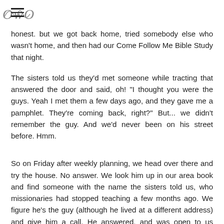[hamburger menu icon] [cursive logo/monogram]
honest. but we got back home, tried somebody else who wasn't home, and then had our Come Follow Me Bible Study that night.
The sisters told us they'd met someone while tracting that answered the door and said, oh! "I thought you were the guys. Yeah I met them a few days ago, and they gave me a pamphlet. They're coming back, right?" But... we didn't remember the guy. And we'd never been on his street before. Hmm.
So on Friday after weekly planning, we head over there and try the house. No answer. We look him up in our area book and find someone with the name the sisters told us, who missionaries had stopped teaching a few months ago. We figure he's the guy (although he lived at a different address) and give him a call. He answered, and was open to us coming